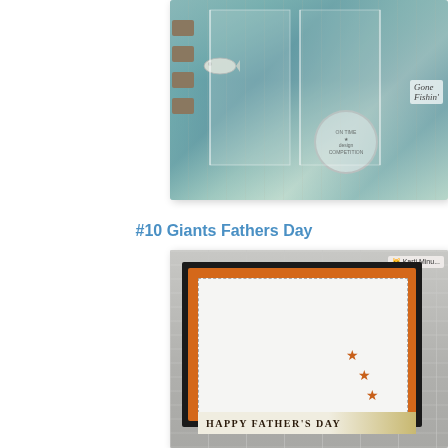[Figure (photo): Handmade fishing-themed card or shadow box with teal/aqua patterned paper, fish die-cut, 'Gone Fishin' text, and small tab embellishments. A circular maker's stamp/watermark is visible.]
#10 Giants Fathers Day
[Figure (photo): Handmade Father's Day card with black mat, orange patterned paper, white embossed panel with dashed border, three orange star die-cuts, and a 'HAPPY FATHER'S DAY' banner at the bottom. Background is grey wood.]